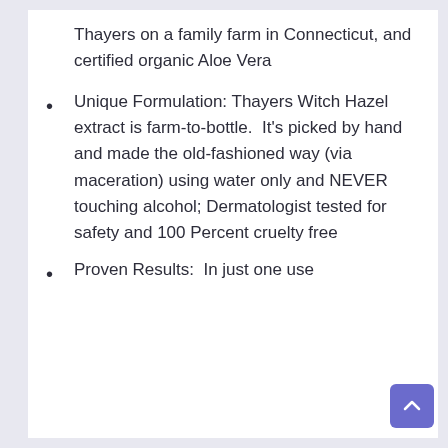Thayers on a family farm in Connecticut, and certified organic Aloe Vera
Unique Formulation: Thayers Witch Hazel extract is farm-to-bottle.  It's picked by hand and made the old-fashioned way (via maceration) using water only and NEVER touching alcohol; Dermatologist tested for safety and 100 Percent cruelty free
Proven Results:  In just one use